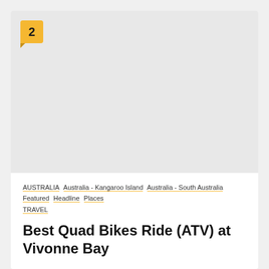[Figure (photo): Large image placeholder area in light gray, with a yellow badge numbered 2 in the top-left corner]
AUSTRALIA  Australia - Kangaroo Island  Australia - South Australia  Featured  Headline  Places  TRAVEL
Best Quad Bikes Ride (ATV) at Vivonne Bay